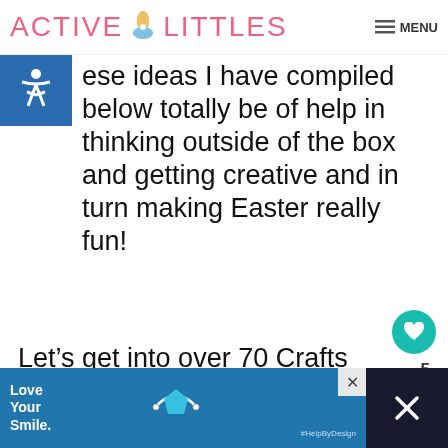ACTIVE LITTLES — MENU
ese ideas I have compiled below totally be of help in thinking outside of the box and getting creative and in turn making Easter really fun!
Let's get into over 70 Crafts and Activities for Kids you can try this Easter.. 🙂
[Figure (infographic): Advertisement banner: Love Your Smile with dental product graphic and #HelpByDesign hashtag]